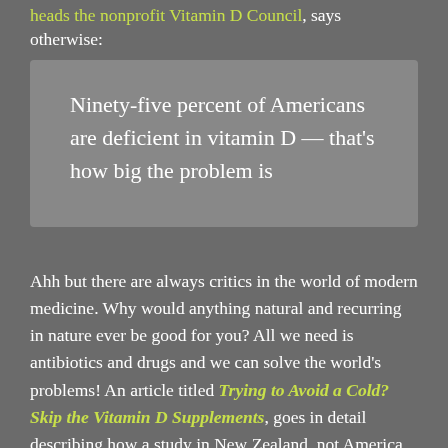heads the nonprofit Vitamin D Council, says otherwise:
Ninety-five percent of Americans are deficient in vitamin D — that's how big the problem is
Ahh but there are always critics in the world of modern medicine. Why would anything natural and recurring in nature ever be good for you? All we need is antibiotics and drugs and we can solve the world's problems! An article titled Trying to Avoid a Cold? Skip the Vitamin D Supplements, goes in detail describing how a study in New Zealand, not America, produced results that leave the reader questioning the validity of vitamin D benefits. Yet it notes that the deficiency is it is D would kill